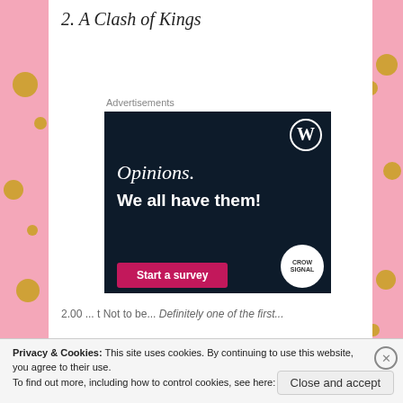2. A Clash of Kings
Advertisements
[Figure (other): WordPress advertisement banner with dark navy background. Shows WordPress logo (W in circle) top right. Text reads 'Opinions. We all have them!' with a pink 'Start a survey' button and Crowdsignal logo bottom right.]
2.00 ... t Not to be... Definitely one of the first...
Privacy & Cookies: This site uses cookies. By continuing to use this website, you agree to their use.
To find out more, including how to control cookies, see here: Cookie Policy
Close and accept